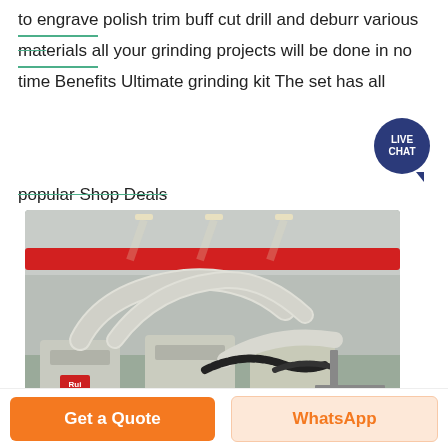to engrave polish trim buff cut drill and deburr various materials all your grinding projects will be done in no time Benefits Ultimate grinding kit The set has all popular Shop Deals
[Figure (photo): Industrial grinding/shot blasting machines inside a large factory with red overhead crane visible at ceiling. Multiple large white cylindrical machines with pipe connections and conveyor systems.]
Get a Quote
WhatsApp